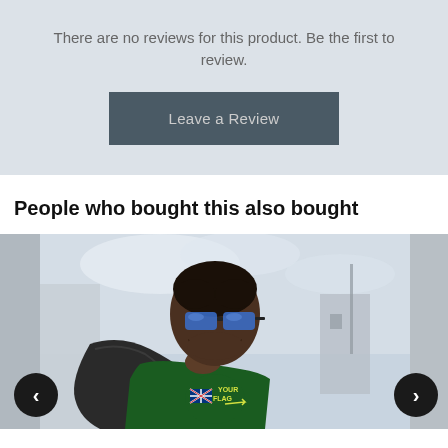There are no reviews for this product. Be the first to review.
Leave a Review
People who bought this also bought
[Figure (photo): A man wearing a dark green t-shirt with an Australian flag design and text 'YOUR FLAG', blue reflective sunglasses, carrying a dark jacket over his shoulder, photographed outdoors against a cloudy sky background.]